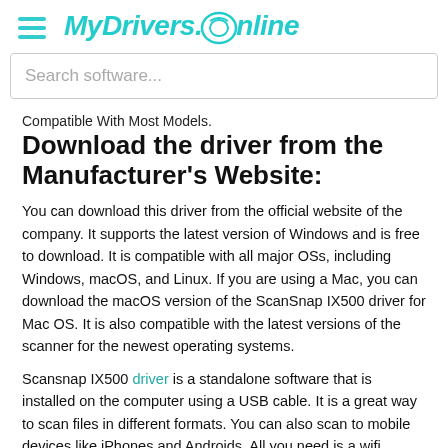MyDrivers.Online
Search software...
Compatible With Most Models.
Download the driver from the Manufacturer's Website:
You can download this driver from the official website of the company. It supports the latest version of Windows and is free to download. It is compatible with all major OSs, including Windows, macOS, and Linux. If you are using a Mac, you can download the macOS version of the ScanSnap IX500 driver for Mac OS. It is also compatible with the latest versions of the scanner for the newest operating systems.
Scansnap IX500 driver is a standalone software that is installed on the computer using a USB cable. It is a great way to scan files in different formats. You can also scan to mobile devices like iPhones and Androids. All you need is a wifi connection. If you are using a laptop, you can download the driver for Mac from the same source. If you are using a Mac, you can install it